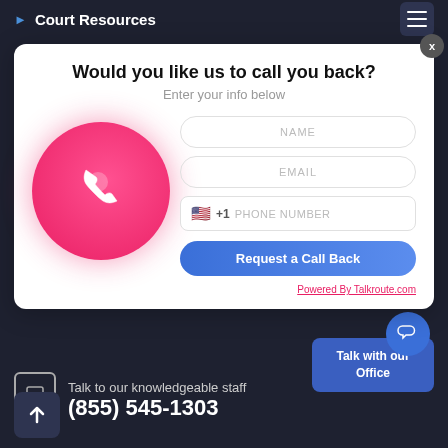Court Resources
Would you like us to call you back?
Enter your info below
[Figure (illustration): Pink circle with white phone handset icon]
NAME
EMAIL
+1  PHONE NUMBER
Request a Call Back
Powered By Talkroute.com
Talk to our knowledgeable staff
(855) 545-1303
Talk with our Office